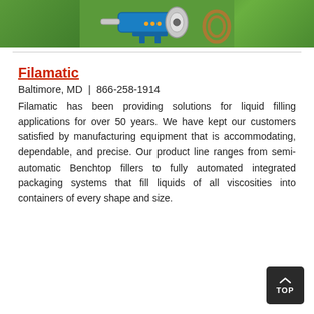[Figure (photo): Banner image showing industrial liquid filling machine equipment (blue and silver pump/filler) against a green nature background with a coiled copper tube on the right side.]
Filamatic
Baltimore, MD  |  866-258-1914
Filamatic has been providing solutions for liquid filling applications for over 50 years. We have kept our customers satisfied by manufacturing equipment that is accommodating, dependable, and precise. Our product line ranges from semi-automatic Benchtop fillers to fully automated integrated packaging systems that fill liquids of all viscosities into containers of every shape and size.